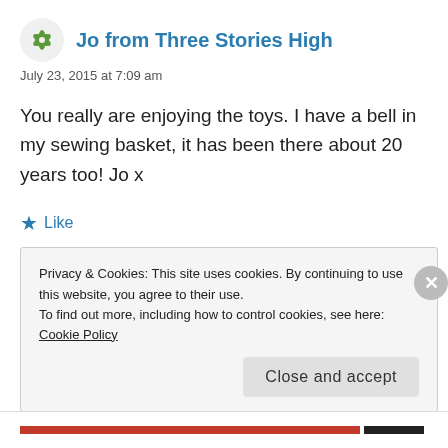Jo from Three Stories High
July 23, 2015 at 7:09 am
You really are enjoying the toys. I have a bell in my sewing basket, it has been there about 20 years too! Jo x
★ Like
Reply
Privacy & Cookies: This site uses cookies. By continuing to use this website, you agree to their use.
To find out more, including how to control cookies, see here: Cookie Policy
Close and accept